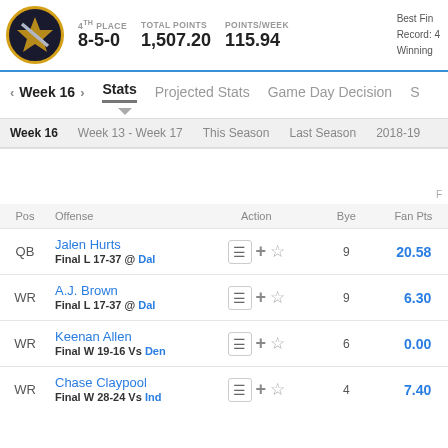4TH PLACE  8-5-0  TOTAL POINTS 1,507.20  POINTS/WEEK 115.94  Best Fin  Record: 4  Winning
‹ Week 16 ›   Stats   Projected Stats   Game Day Decision   S
Week 16   Week 13 - Week 17   This Season   Last Season   2018-19
| Pos | Offense | Action | Bye | Fan Pts |
| --- | --- | --- | --- | --- |
| QB | Jalen Hurts
Final L 17-37 @ Dal |  | 9 | 20.58 |
| WR | A.J. Brown
Final L 17-37 @ Dal |  | 9 | 6.30 |
| WR | Keenan Allen
Final W 19-16 Vs Den |  | 6 | 0.00 |
| WR | Chase Claypool
Final W 28-24 Vs Ind |  | 4 | 7.40 |